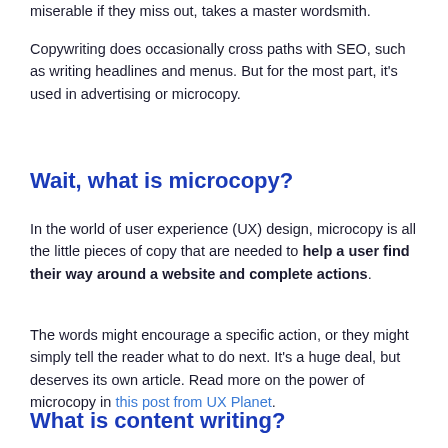miserable if they miss out, takes a master wordsmith.
Copywriting does occasionally cross paths with SEO, such as writing headlines and menus. But for the most part, it's used in advertising or microcopy.
Wait, what is microcopy?
In the world of user experience (UX) design, microcopy is all the little pieces of copy that are needed to help a user find their way around a website and complete actions.
The words might encourage a specific action, or they might simply tell the reader what to do next. It's a huge deal, but deserves its own article. Read more on the power of microcopy in this post from UX Planet.
What is content writing?